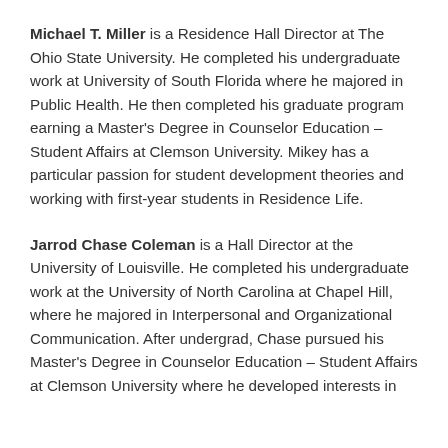Michael T. Miller is a Residence Hall Director at The Ohio State University. He completed his undergraduate work at University of South Florida where he majored in Public Health. He then completed his graduate program earning a Master's Degree in Counselor Education – Student Affairs at Clemson University. Mikey has a particular passion for student development theories and working with first-year students in Residence Life.
Jarrod Chase Coleman is a Hall Director at the University of Louisville. He completed his undergraduate work at the University of North Carolina at Chapel Hill, where he majored in Interpersonal and Organizational Communication. After undergrad, Chase pursued his Master's Degree in Counselor Education – Student Affairs at Clemson University where he developed interests in...